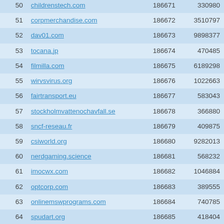| # | Domain | ID | Value |
| --- | --- | --- | --- |
| 50 | childrenstech.com | 186671 | 330980 |
| 51 | corpmerchandise.com | 186672 | 3510797 |
| 52 | dav01.com | 186673 | 9898377 |
| 53 | tocana.jp | 186674 | 470485 |
| 54 | filmilla.com | 186675 | 6189298 |
| 55 | wirvsvirus.org | 186676 | 1022663 |
| 56 | fairtransport.eu | 186677 | 583043 |
| 57 | stockholmvattenochavfall.se | 186678 | 366880 |
| 58 | sncf-reseau.fr | 186679 | 409875 |
| 59 | csiworld.org | 186680 | 9282013 |
| 60 | nerdgaming.science | 186681 | 568232 |
| 61 | imocwx.com | 186682 | 1046884 |
| 62 | optcorp.com | 186683 | 389555 |
| 63 | onlinemswprograms.com | 186684 | 740785 |
| 64 | spudart.org | 186685 | 418404 |